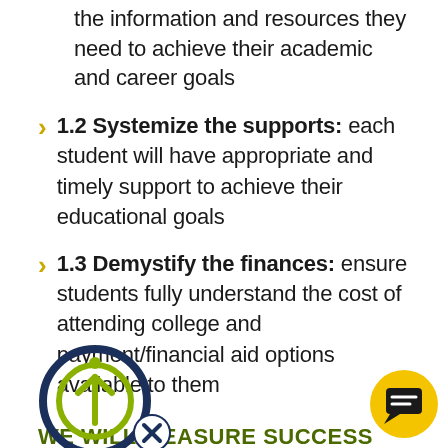the information and resources they need to achieve their academic and career goals
1.2 Systemize the supports: each student will have appropriate and timely support to achieve their educational goals
1.3 Demystify the finances: ensure students fully understand the cost of attending college and payment/financial aid options available to them
WE WILL MEASURE SUCCESS BY:
Percentage of students earning six or more credits during their first term